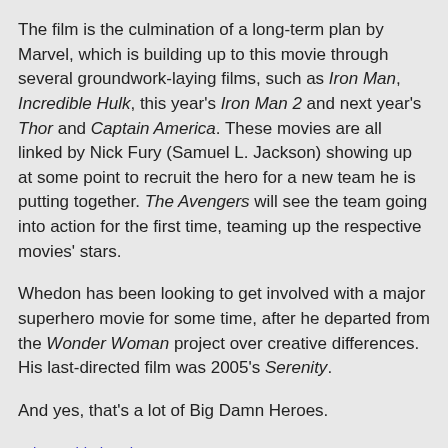The film is the culmination of a long-term plan by Marvel, which is building up to this movie through several groundwork-laying films, such as Iron Man, Incredible Hulk, this year's Iron Man 2 and next year's Thor and Captain America. These movies are all linked by Nick Fury (Samuel L. Jackson) showing up at some point to recruit the hero for a new team he is putting together. The Avengers will see the team going into action for the first time, teaming up the respective movies' stars.
Whedon has been looking to get involved with a major superhero movie for some time, after he departed from the Wonder Woman project over creative differences. His last-directed film was 2005's Serenity.
And yes, that's a lot of Big Damn Heroes.
Adam Whitehead at 22:40   4 comments: